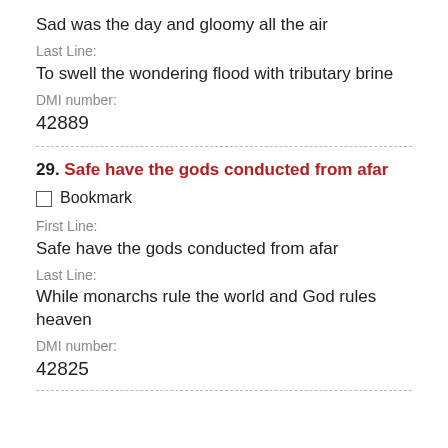Sad was the day and gloomy all the air
Last Line:
To swell the wondering flood with tributary brine
DMI number:
42889
29. Safe have the gods conducted from afar
Bookmark
First Line:
Safe have the gods conducted from afar
Last Line:
While monarchs rule the world and God rules heaven
DMI number:
42825